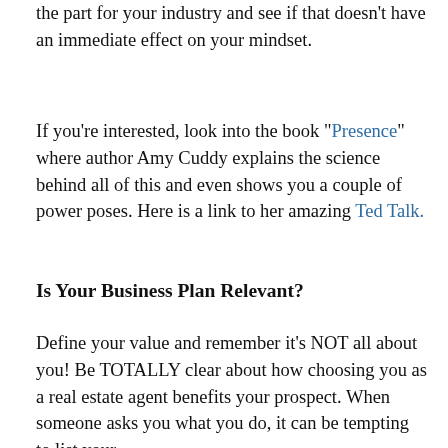the part for your industry and see if that doesn't have an immediate effect on your mindset.
If you're interested, look into the book "Presence" where author Amy Cuddy explains the science behind all of this and even shows you a couple of power poses. Here is a link to her amazing Ted Talk.
Is Your Business Plan Relevant?
Define your value and remember it's NOT all about you! Be TOTALLY clear about how choosing you as a real estate agent benefits your prospect. When someone asks you what you do, it can be tempting to list your